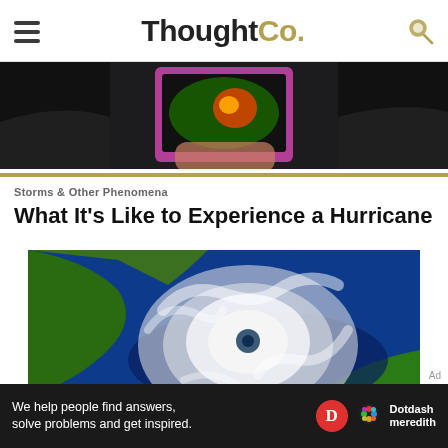ThoughtCo.
[Figure (photo): Person holding a smartphone showing a weather radar app in a car]
Storms & Other Phenomena
What It's Like to Experience a Hurricane
[Figure (photo): Satellite view of a large hurricane over land and ocean]
Ad
We help people find answers, solve problems and get inspired. Dotdash meredith